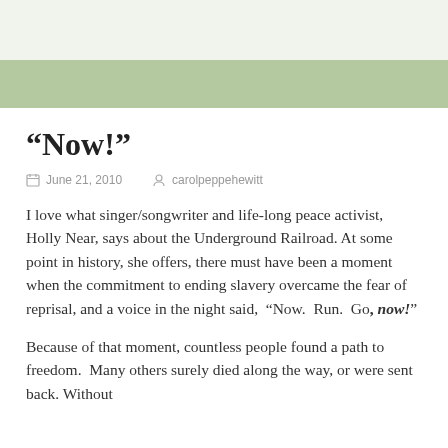“Now!”
June 21, 2010   carolpeppehewitt
I love what singer/songwriter and life-long peace activist, Holly Near, says about the Underground Railroad. At some point in history, she offers, there must have been a moment when the commitment to ending slavery overcame the fear of reprisal, and a voice in the night said, “Now.  Run.  Go, now!”
Because of that moment, countless people found a path to freedom.  Many others surely died along the way, or were sent back. Without